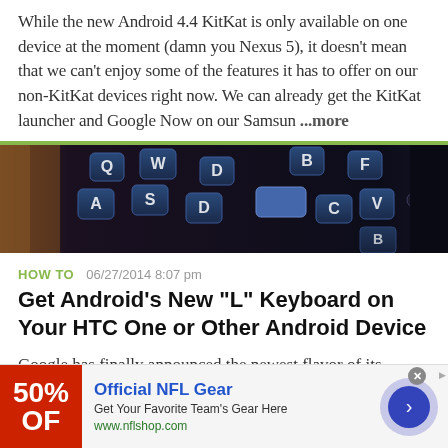While the new Android 4.4 KitKat is only available on one device at the moment (damn you Nexus 5), it doesn't mean that we can't enjoy some of the features it has to offer on our non-KitKat devices right now. We can already get the KitKat launcher and Google Now on our Samsun ...more
[Figure (photo): Close-up photo of a dark QWERTY smartphone keyboard with backlit white keys showing letters Q, W, D, B, A, S, F, C, V, B on a dark blue/black background]
HOW TO   06/27/2014 8:07 pm
Get Android's New "L" Keyboard on Your HTC One or Other Android Device
Google has finally announced the newest flavor of its mobile OS, Android L (Lollipop?), and I couldn't be more excited. While we won't see its official release until the fall,
[Figure (infographic): Advertisement banner for Official NFL Gear showing 50% OFF discount, with blue title text 'Official NFL Gear', subtitle 'Get Your Favorite Team's Gear Here', URL www.nflshop.com, and a blue circular CTA button with right arrow]